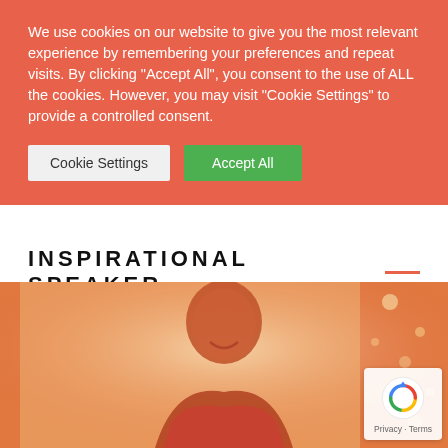We use cookies on our website to give you the most relevant experience by remembering your preferences and repeat visits. By clicking "Accept All", you consent to the use of ALL the cookies. However, you may visit "Cookie Settings" to provide a controlled consent.
Cookie Settings | Accept All
INSPIRATIONAL SPEAKER
[Figure (photo): Photo of a bald man smiling, shown from the chest up, with an orange/warm-toned filter over the image. Background is blurred with bokeh light effects.]